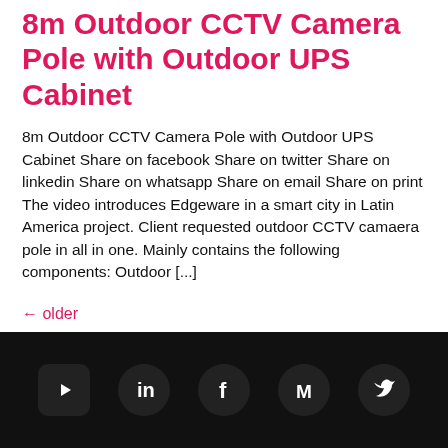8m Outdoor CCTV Camera Pole with Outdoor UPS Cabinet
8m Outdoor CCTV Camera Pole with Outdoor UPS Cabinet Share on facebook Share on twitter Share on linkedin Share on whatsapp Share on email Share on print The video introduces Edgeware in a smart city in Latin America project. Client requested outdoor CCTV camaera pole in all in one. Mainly contains the following components: Outdoor [...]
← older
newer →
[Figure (infographic): Footer with social media icons: YouTube, LinkedIn, Facebook, Medium, Twitter on dark background]